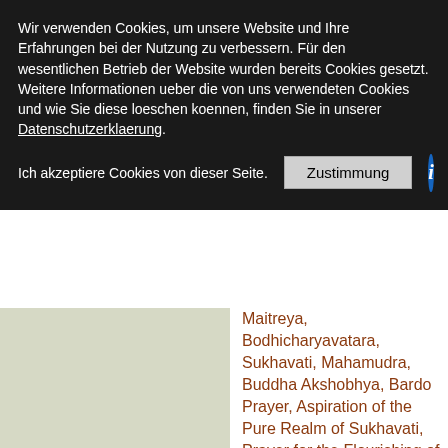Wir verwenden Cookies, um unsere Website und Ihre Erfahrungen bei der Nutzung zu verbessern. Für den wesentlichen Betrieb der Website wurden bereits Cookies gesetzt. Weitere Informationen ueber die von uns verwendeten Cookies und wie Sie diese loeschen koennen, finden Sie in unserer Datenschutzerklaerung.
Ich akzeptiere Cookies von dieser Seite. [Zustimmung button] [i info button]
Maitreya, Bodhicharyavatara, Sukhavati, Mahamudra, Buddha Akshobhya, Bardo Prayer, Aspiration of the Pure Realm of Sukhavati, Prayer for the Flourishing of Buddha Dharma, Sangha, Condensed Dedication Prayer, Dharana for the Fulfilment of all Aspirations, Secret Inner Offering Prayer of Mahakala, Prayer of Repentance, Prayer